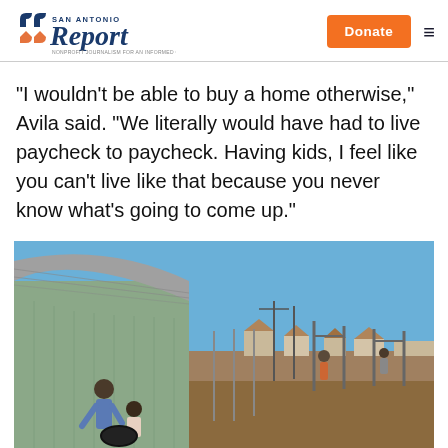San Antonio Report — Nonprofit Journalism for an Informed Community
“I wouldn’t be able to buy a home otherwise,” Avila said. “We literally would have had to live paycheck to paycheck. Having kids, I feel like you can’t live like that because you never know what’s going to come up.”
[Figure (photo): A person and a child play on a tire swing or playground equipment in front of a shed with a shingled roof. In the background, a construction site and partially built homes under a clear blue sky.]